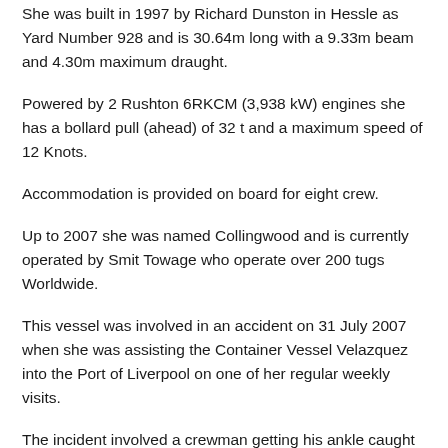She was built in 1997 by Richard Dunston in Hessle as Yard Number 928 and is 30.64m long with a 9.33m beam and 4.30m maximum draught.
Powered by 2 Rushton 6RKCM (3,938 kW) engines she has a bollard pull (ahead) of 32 t and a maximum speed of 12 Knots.
Accommodation is provided on board for eight crew.
Up to 2007 she was named Collingwood and is currently operated by Smit Towage who operate over 200 tugs Worldwide.
This vessel was involved in an accident on 31 July 2007 when she was assisting the Container Vessel Velazquez into the Port of Liverpool on one of her regular weekly visits.
The incident involved a crewman getting his ankle caught in a line and being pulled towards the panama eye. The crewman braced himself against the panama eye while his fellow crew members tried to assist but concerned at losing his leg the crewman put his feet and legs together and was pulled through the panama eye. He landed in the